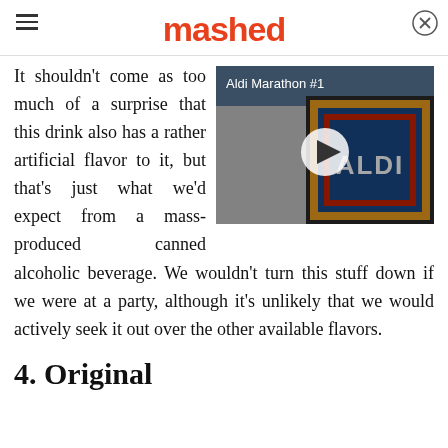mashed
[Figure (screenshot): Aldi Marathon #1 video thumbnail showing an ALDI store sign with a play button overlay]
It shouldn't come as too much of a surprise that this drink also has a rather artificial flavor to it, but that's just what we'd expect from a mass-produced canned alcoholic beverage. We wouldn't turn this stuff down if we were at a party, although it's unlikely that we would actively seek it out over the other available flavors.
4. Original